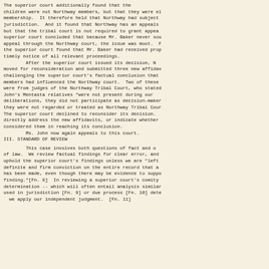The superior court additionally found that the children were not Northway members, but that they were eligible for membership. It therefore held that Northway had subject matter jurisdiction. And it found that Northway has an appeals process, but that the tribal court is not required to grant appeals. The superior court concluded that because Mr. Baker never sought to appeal through the Northway court, the issue was moot. Finally, the superior court found that Mr. Baker had received proper and timely notice of all relevant proceedings.

        After the superior court issued its decision, Ms. John moved for reconsideration and submitted three new affidavits challenging the superior court's factual conclusion that Mentasta members had influenced the Northway court. Two of these affidavits were from judges of the Northway Tribal Court, who stated that John's Mentasta relatives "were not present during our deliberations, they did not participate as decision-makers, and they were not regarded or treated as Northway Tribal Court members." The superior court declined to reconsider its decision. It did not directly address the new affidavits, or indicate whether it considered them in reaching its conclusion.

        Ms. John now again appeals to this court.
III. STANDARD OF REVIEW
This case involves both questions of fact and questions of law. We review factual findings for clear error, and we uphold the superior court's findings unless we are "left with a definite and firm conviction on the entire record that a mistake has been made, even though there may be evidence to support the finding."[Fn. 8] In reviewing a superior court's comity determination -- which will often entail analysis similar to that used in jurisdiction [Fn. 9] or due process [Fn. 10] determinations -- we apply our independent judgment. [Fn. 11]